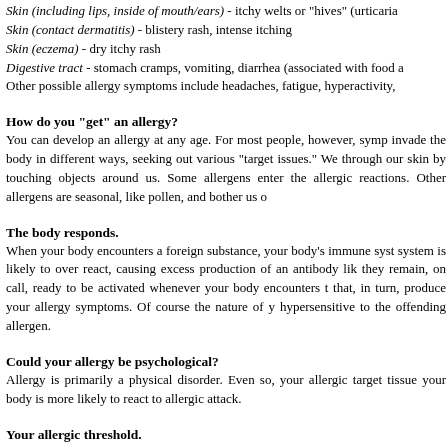Skin (including lips, inside of mouth/ears) - itchy welts or "hives" (urticaria
Skin (contact dermatitis) - blistery rash, intense itching
Skin (eczema) - dry itchy rash
Digestive tract - stomach cramps, vomiting, diarrhea (associated with food a
Other possible allergy symptoms include headaches, fatigue, hyperactivity,
How do you "get" an allergy?
You can develop an allergy at any age.  For most people, however, symp invade the body in different ways, seeking out various "target issues."  We through our skin by touching objects around us.  Some allergens enter the allergic reactions.  Other allergens are seasonal, like pollen, and bother us o
The body responds.
When your body encounters a foreign substance, your body's immune syst system is likely to over react, causing excess production of an antibody lik they remain, on call, ready to be activated whenever your body encounters t that, in turn, produce your allergy symptoms.  Of course the nature of y hypersensitive to the offending allergen.
Could your allergy be psychological?
Allergy is primarily a physical disorder.  Even so, your allergic target tissue your body is more likely to react to allergic attack.
Your allergic threshold.
Your body's level of resistance to allergic attack will vary depending on c health and emotional state, whether you already have an illness, how much factors can actually increase or decrease your vulnerability.
Was your allergy inherited?